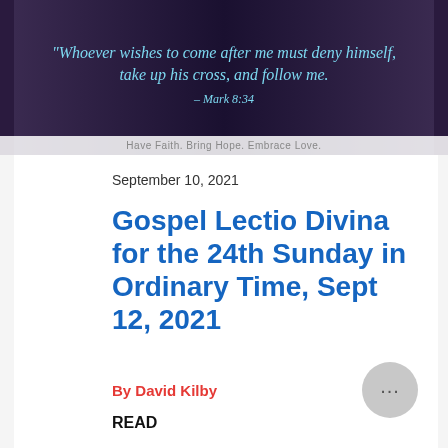[Figure (photo): Dark purple/navy banner with italic quote in teal: "Whoever wishes to come after me must deny himself, take up his cross, and follow me. – Mark 8:34" with tagline below: Have Faith. Bring Hope. Embrace Love.]
September 10, 2021
Gospel Lectio Divina for the 24th Sunday in Ordinary Time, Sept 12, 2021
By David Kilby
READ